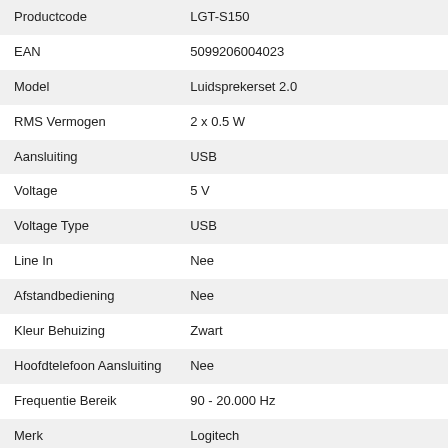| Kenmerk | Waarde |
| --- | --- |
| Productcode | LGT-S150 |
| EAN | 5099206004023 |
| Model | Luidsprekerset 2.0 |
| RMS Vermogen | 2 x 0.5 W |
| Aansluiting | USB |
| Voltage | 5 V |
| Voltage Type | USB |
| Line In | Nee |
| Afstandbediening | Nee |
| Kleur Behuizing | Zwart |
| Hoofdtelefoon Aansluiting | Nee |
| Frequentie Bereik | 90 - 20.000 Hz |
| Merk | Logitech |